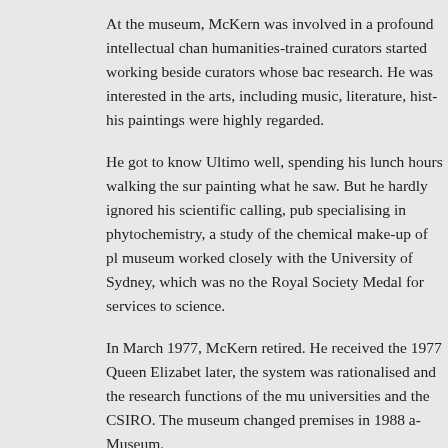At the museum, McKern was involved in a profound intellectual change, humanities-trained curators started working beside curators whose backgrounds were in research. He was interested in the arts, including music, literature, history and painting; his paintings were highly regarded.
He got to know Ultimo well, spending his lunch hours walking the surrounding streets, painting what he saw. But he hardly ignored his scientific calling, publishing books specialising in phytochemistry, a study of the chemical make-up of plants. The museum worked closely with the University of Sydney, which was noted, and he received the Royal Society Medal for services to science.
In March 1977, McKern retired. He received the 1977 Queen Elizabeth II... later, the system was rationalised and the research functions of the museum went to universities and the CSIRO. The museum changed premises in 1988 and... Museum.
McKern remained intellectually active, and in 1995 had a book published... Hamlet. The museum had not forgotten McKern and in 2004 gave him... 2005, he was included in a video presentation by museum curator Ann... and Hellhole, a History of Pyrmont and Ultimo.